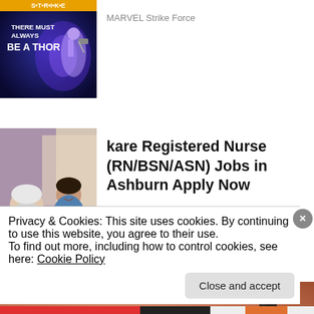[Figure (screenshot): Marvel Strike Force game advertisement thumbnail — dark blue/purple background with text 'THERE MUST ALWAYS BE A THOR' and a character figure]
MARVEL Strike Force
[Figure (photo): Photo of a nurse in blue scrubs smiling at an elderly patient]
kare Registered Nurse (RN/BSN/ASN) Jobs in Ashburn Apply Now
jobble.com
[Figure (photo): Close-up photo of a finger with a glucose monitor or medical device with teal color]
Privacy & Cookies: This site uses cookies. By continuing to use this website, you agree to their use.
To find out more, including how to control cookies, see here: Cookie Policy
Close and accept